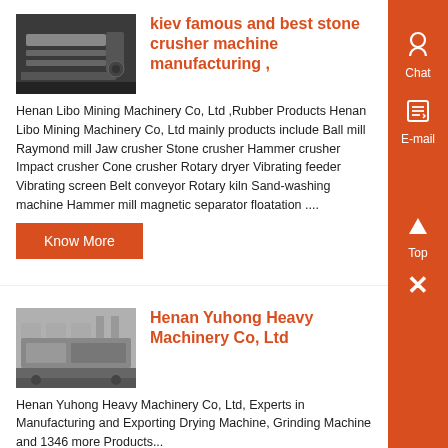[Figure (photo): Black and white photo of stone crusher machine in a factory setting]
kiev famous and best stone crusher machine manufacturing ,
Henan Libo Mining Machinery Co, Ltd ,Rubber Products Henan Libo Mining Machinery Co, Ltd mainly products include Ball mill Raymond mill Jaw crusher Stone crusher Hammer crusher Impact crusher Cone crusher Rotary dryer Vibrating feeder Vibrating screen Belt conveyor Rotary kiln Sand-washing machine Hammer mill magnetic separator floatation ....
Know More
[Figure (photo): Photo of industrial machinery equipment on a table]
Henan Yuhong Heavy Machinery Co, Ltd
Henan Yuhong Heavy Machinery Co, Ltd, Experts in Manufacturing and Exporting Drying Machine, Grinding Machine and 1346 more Products...
Know More